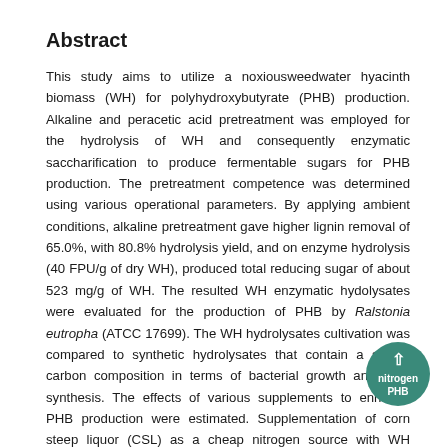Abstract
This study aims to utilize a noxiousweedwater hyacinth biomass (WH) for polyhydroxybutyrate (PHB) production. Alkaline and peracetic acid pretreatment was employed for the hydrolysis of WH and consequently enzymatic saccharification to produce fermentable sugars for PHB production. The pretreatment competence was determined using various operational parameters. By applying ambient conditions, alkaline pretreatment gave higher lignin removal of 65.0%, with 80.8% hydrolysis yield, and on enzyme hydrolysis (40 FPU/g of dry WH), produced total reducing sugar of about 523 mg/g of WH. The resulted WH enzymatic hydolysates were evaluated for the production of PHB by Ralstonia eutropha (ATCC 17699). The WH hydrolysates cultivation was compared to synthetic hydrolysates that contain a similar carbon composition in terms of bacterial growth and PHB synthesis. The effects of various supplements to enhance PHB production were estimated. Supplementation of corn steep liquor (CSL) as a cheap nitrogen source with WH hydrolysates favored a higher amount of PHB synthesis (73%), PHB titer of 7.30 g/L and PHB yield of 0.429 g/g of reducing sugar. Finally, using standard analytical tools, the